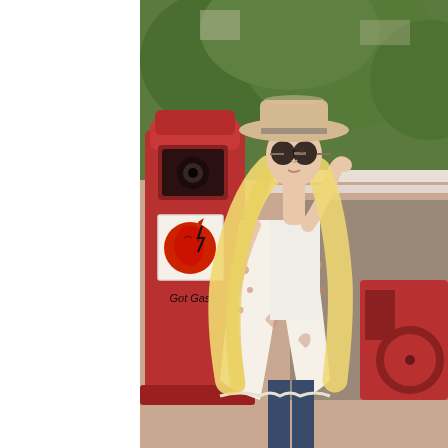[Figure (photo): A blonde woman wearing a wide-brim tan felt hat, round dark sunglasses, a white floral kimono over a white top and dark jeans, standing next to a vintage red gas pump with a Native American head logo sticker and the text 'Got Gas?' written on it. Green trees are visible in the background.]